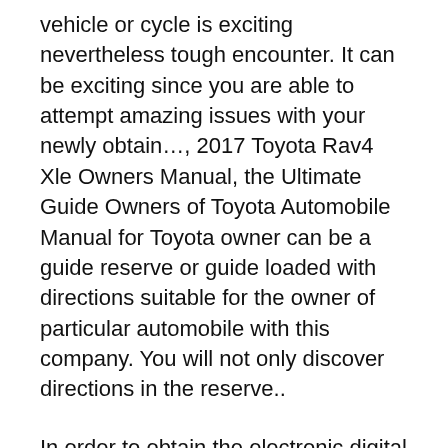vehicle or cycle is exciting nevertheless tough encounter. It can be exciting since you are able to attempt amazing issues with your newly obtain…, 2017 Toyota Rav4 Xle Owners Manual, the Ultimate Guide Owners of Toyota Automobile Manual for Toyota owner can be a guide reserve or guide loaded with directions suitable for the owner of particular automobile with this company. You will not only discover directions in the reserve..
In order to obtain the electronic digital version of 2017 Toyota Rav4 Le Awd Owners Manual, you should go to the devoted website for automobile owners with this automaker's goods. You should